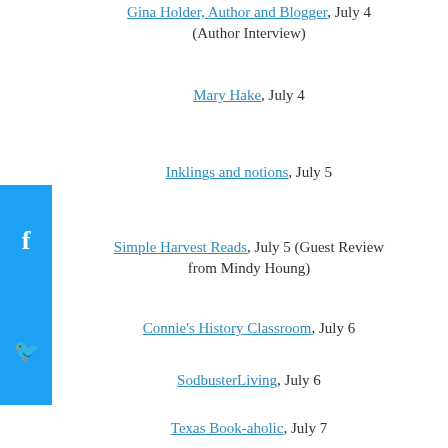Gina Holder, Author and Blogger, July 4 (Author Interview)
Mary Hake, July 4
Inklings and notions, July 5
Simple Harvest Reads, July 5 (Guest Review from Mindy Houng)
Connie's History Classroom, July 6
SodbusterLiving, July 6
Texas Book-aholic, July 7